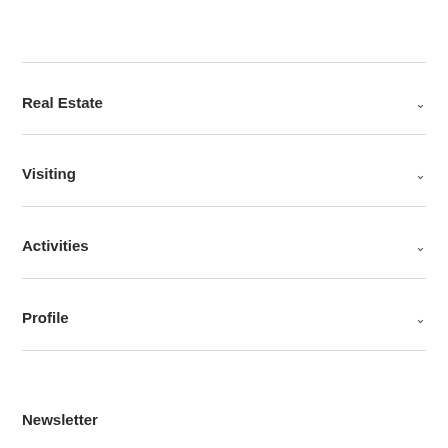Real Estate
Visiting
Activities
Profile
Newsletter